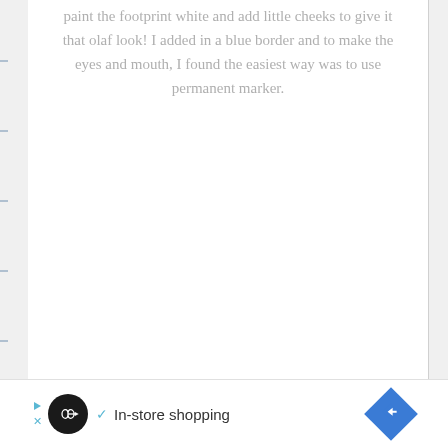paint the footprint white and add little cheeks to give it that olaf look! I added in a blue border and to make the eyes and mouth, I found the easiest way was to use permanent marker.
[Figure (infographic): Advertisement bar at the bottom with a black circular logo containing infinity-like symbol, a checkmark, 'In-store shopping' text, and a blue diamond-shaped navigation arrow icon on the right.]